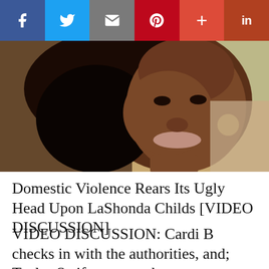[Figure (screenshot): Social sharing toolbar with Facebook, Twitter, Email, Pinterest, Google+, and LinkedIn buttons]
[Figure (photo): Close-up photo of a woman (LaShonda Childs) taking a selfie in a car, showing her face and upper body against a blurred background]
Domestic Violence Rears Its Ugly Head Upon LaShonda Childs [VIDEO DISCUSSION]
VIDEO DISCUSSION: Cardi B checks in with the authorities, and; Taylor Swift gets out the voter